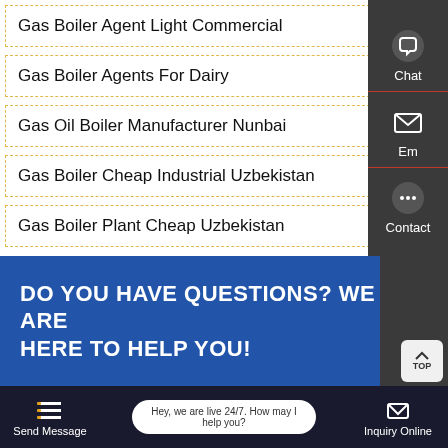Gas Boiler Agent Light Commercial
Gas Boiler Agents For Dairy
Gas Oil Boiler Manufacturer Nunbai
Gas Boiler Cheap Industrial Uzbekistan
Gas Boiler Plant Cheap Uzbekistan
DO YOU HAVE QUESTIONS? WE ARE HERE TO HELP YOU!
Hey, we are live 24/7. How may I help you?
Send Message
Inquiry Online